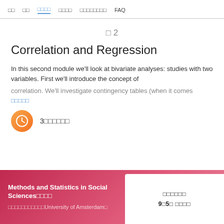□□  □□  □□□□  □□□□  □□□□□□□□  FAQ
□ 2
Correlation and Regression
In this second module we'll look at bivariate analyses: studies with two variables. First we'll introduce the concept of correlation. We'll investigate contingency tables (when it comes…
□□□□□
3□□□□□□
Methods and Statistics in Social Sciences□□□□
□□□□□□□□□□□University of Amsterdam□
□□□□□□
9□5□ □□□□